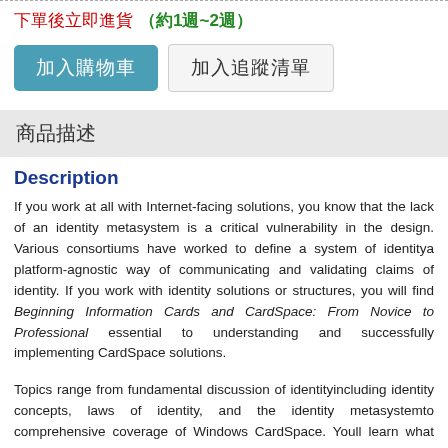下單後立即進貨 (約1週~2週)
加入購物車　加入追蹤清單
商品描述
Description
If you work at all with Internet-facing solutions, you know that the lack of an identity metasystem is a critical vulnerability in the design. Various consortiums have worked to define a system of identitya platform-agnostic way of communicating and validating claims of identity. If you work with identity solutions or structures, you will find Beginning Information Cards and CardSpace: From Novice to Professional essential to understanding and successfully implementing CardSpace solutions.
Topics range from fundamental discussion of identityincluding identity concepts, laws of identity, and the identity metasystemto comprehensive coverage of Windows CardSpace. Youll learn what CardSpace is all about, where you can and should use it, and how you would implement it. Additionally, multiple case studies showcase different scenarios where the technology is employed.